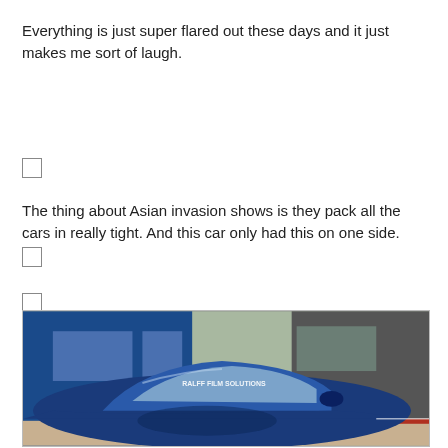Everything is just super flared out these days and it just makes me sort of laugh.
[Figure (photo): Checkbox placeholder image 1 (empty)]
[Figure (photo): Checkbox placeholder image 2 (empty)]
[Figure (photo): Checkbox placeholder image 3 (empty)]
The thing about Asian invasion shows is they pack all the cars in really tight. And this car only had this on one side.
[Figure (photo): Checkbox placeholder image 4 (empty)]
[Figure (photo): Photo of a blue car (low sedan/sports car) packed tightly in a parking lot between a blue truck and an SUV, with windshield text reading 'RALFF FILM SOLUTIONS']